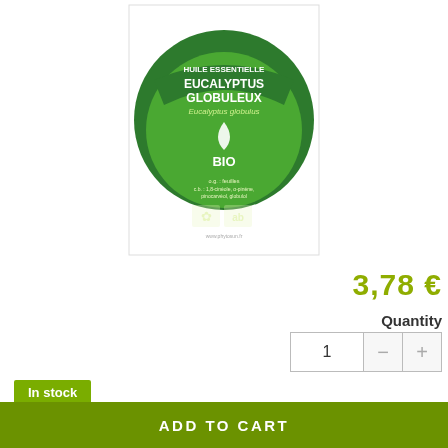[Figure (photo): Phytosun Aroms Eucalyptus Globuleux BIO essential oil product label on white background. Green circular label with text HUILE ESSENTIELLE, EUCALYPTUS GLOBULEUX, Eucalyptus globulus, BIO, with organic certification logos.]
3,78 €
Quantity
1
In stock
Reference: 3595890239533
Phytosun Aroms Organic Eucalyptus globulus Organic Essential Oil 10ML Eucalyptus globulus HEBBD
EUCALYPTUS GLOBULUS Organic Essential Oil is intended to fight against respiratory infections such as bronchitis, rhinitis and sinusitis.
ADD TO CART